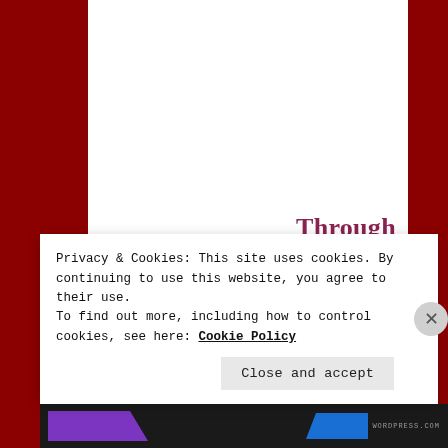Through Doubt and Hope to make our way.
Privacy & Cookies: This site uses cookies. By continuing to use this website, you agree to their use.
To find out more, including how to control cookies, see here: Cookie Policy
Close and accept